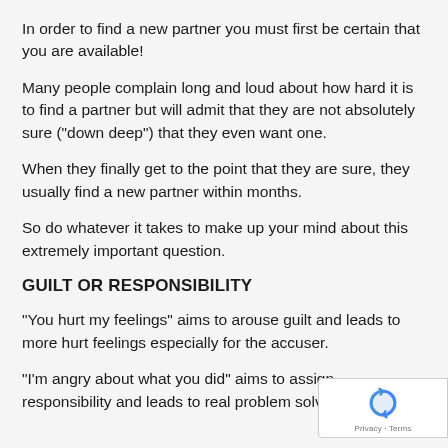In order to find a new partner you must first be certain that you are available!
Many people complain long and loud about how hard it is to find a partner but will admit that they are not absolutely sure ("down deep") that they even want one.
When they finally get to the point that they are sure, they usually find a new partner within months.
So do whatever it takes to make up your mind about this extremely important question.
GUILT OR RESPONSIBILITY
"You hurt my feelings" aims to arouse guilt and leads to more hurt feelings especially for the accuser.
"I'm angry about what you did" aims to assign responsibility and leads to real problem solving for both.